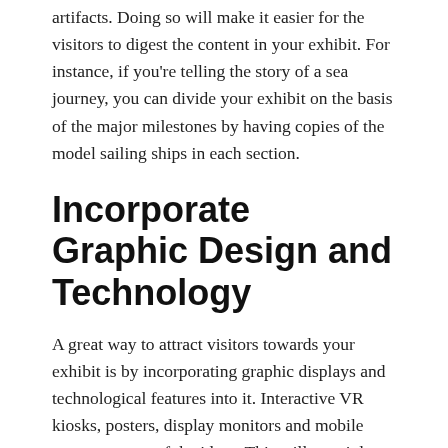artifacts. Doing so will make it easier for the visitors to digest the content in your exhibit. For instance, if you're telling the story of a sea journey, you can divide your exhibit on the basis of the major milestones by having copies of the model sailing ships in each section.
Incorporate Graphic Design and Technology
A great way to attract visitors towards your exhibit is by incorporating graphic displays and technological features into it. Interactive VR kiosks, posters, display monitors and mobile apps are some of the ideas. This will certainly make your exhibit more interesting, but it will also make the young among the visitors feel at home.
VR or Virtual Reality is trending these days in the gaming world. However, it is also being used for variety of other purposes, such as advertising, corporate training, therapy etc. This innovation can be a great asset to your